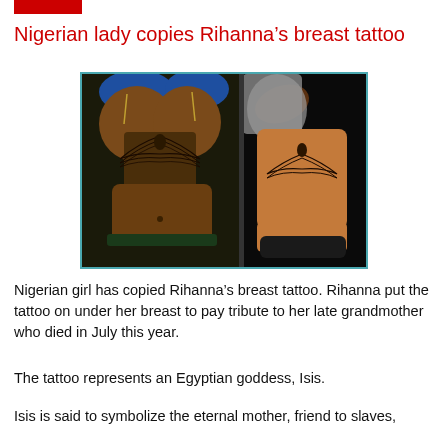Nigerian lady copies Rihanna’s breast tattoo
[Figure (photo): Side-by-side photo: left shows a Nigerian woman with a tattoo under her breasts wearing a blue bra; right shows Rihanna with an Egyptian goddess Isis tattoo under her breasts.]
Nigerian girl has copied Rihanna’s breast tattoo. Rihanna put the tattoo on under her breast to pay tribute to her late grandmother who died in July this year.
The tattoo represents an Egyptian goddess, Isis.
Isis is said to symbolize the eternal mother, friend to slaves,